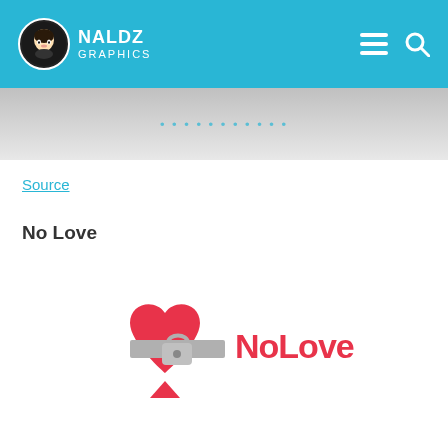NALDZ GRAPHICS
[Figure (screenshot): Partial banner image with teal/grey gradient and faint text]
Source
No Love
[Figure (logo): NoLove logo — red heart with a grey lock/belt band across the middle, and 'NoLove' text in red beside it]